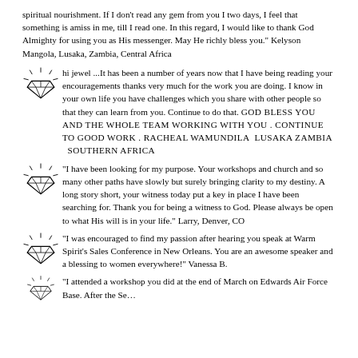spiritual nourishment.  If I don't read any gem from you I two days, I feel that something is amiss in me, till I read one.  In this regard, I would like to thank God Almighty for using you as His messenger. May He richly bless you."  Kelyson Mangola, Lusaka, Zambia, Central Africa
hi jewel ...It has been a number of years now that I have being reading your encouragements thanks very much for the work you are doing. I know in your own life you have challenges which you share with other people so that they can learn from you. Continue to do that.  GOD BLESS YOU AND THE WHOLE TEAM WORKING WITH YOU . CONTINUE TO GOOD WORK . RACHEAL WAMUNDILA  LUSAKA ZAMBIA  SOUTHERN AFRICA
"I have been looking for my purpose.  Your workshops and church and so many other paths have slowly but surely bringing clarity to my destiny.  A long story short, your witness today put a key in place I have been searching for.  Thank you for being a witness to God.  Please always be open to what His will is in your life."  Larry, Denver, CO
"I was encouraged to find my passion after hearing you speak at Warm Spirit's Sales Conference in New Orleans. You are an awesome speaker and a blessing to women everywhere!" Vanessa B.
"I attended a workshop you did at the end of March on Edwards Air Force Base. After the Se...